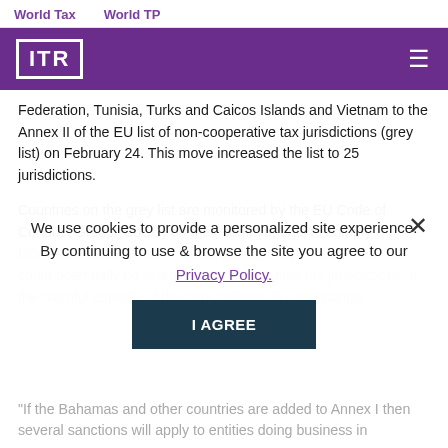World Tax    World TP
[Figure (logo): ITR logo in white on purple background with hamburger menu icon]
Federation, Tunisia, Turks and Caicos Islands and Vietnam to the Annex II of the EU list of non-cooperative tax jurisdictions (grey list) on February 24. This move increased the list to 25 jurisdictions.
Countries on the grey list are monitored by the EU Code of Conduct Group (CoCG) on their commitments to comply with the bloc's standards. It is the official EU watchlist of countries that could potentially be listed as non-cooperative tax jurisdictions, if the harmful aspects of their tax systems do not change.
We use cookies to provide a personalized site experience. By continuing to use & browse the site you agree to our Privacy Policy.
"If the Bahamas and other countries are added to Annex I then several sanctions will apply to entities doing business in